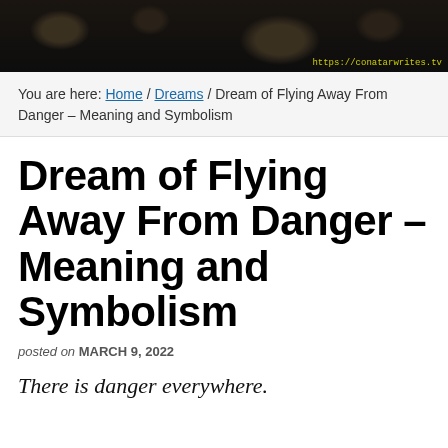[Figure (photo): Dark header image showing soil/ground texture with small plant sprout, with URL watermark 'https://conatarwrites.tv' in yellow monospace text at bottom right]
You are here: Home / Dreams / Dream of Flying Away From Danger – Meaning and Symbolism
Dream of Flying Away From Danger – Meaning and Symbolism
posted on MARCH 9, 2022
There is danger everywhere.